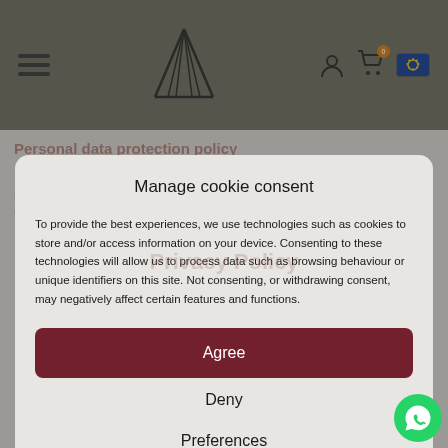[Figure (screenshot): Website navigation bar with hamburger menu, triangle/pyramid logo (A shape), user icon, shopping cart icon with orange badge showing '0', and EU/language flag icon, on dark olive/grey background.]
Manage cookie consent
To provide the best experiences, we use technologies such as cookies to store and/or access information on your device. Consenting to these technologies will allow us to process data such as browsing behaviour or unique identifiers on this site. Not consenting, or withdrawing consent, may negatively affect certain features and functions.
Agree
Deny
Preferences
Cookies policy   Privacy Policy